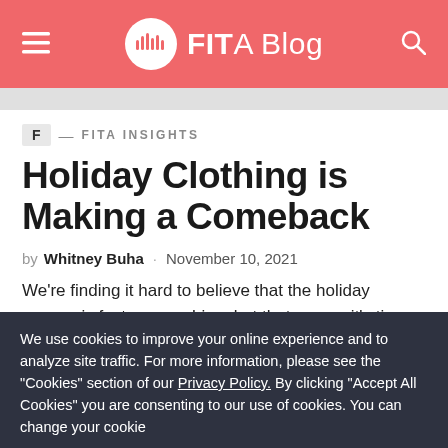FIT A Blog
F — FITA INSIGHTS
Holiday Clothing is Making a Comeback
by Whitney Buha · November 10, 2021
We're finding it hard to believe that the holiday season is fast approaching, but that means it's time
We use cookies to improve your online experience and to analyze site traffic. For more information, please see the "Cookies" section of our Privacy Policy. By clicking "Accept All Cookies" you are consenting to our use of cookies. You can change your cookie